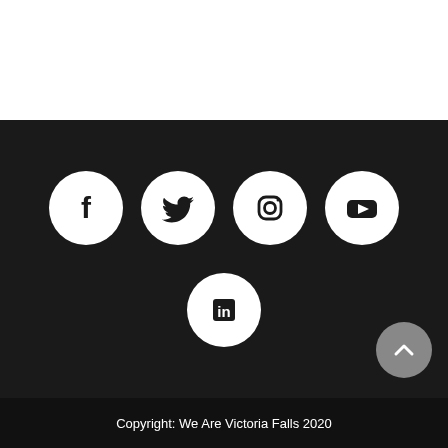[Figure (illustration): Social media icons row: Facebook, Twitter, Instagram, YouTube (white circles on dark background), and LinkedIn below center. A gray scroll-to-top button is at the bottom right.]
Copyright: We Are Victoria Falls 2020